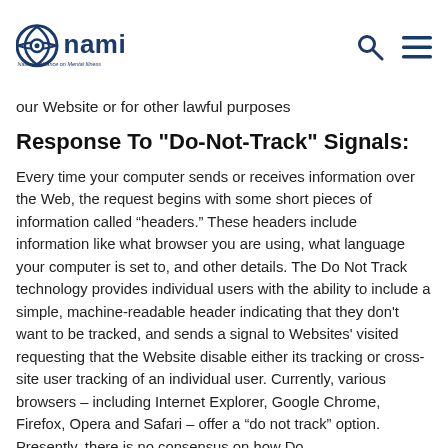NAMI - National Alliance on Mental Illness
our Website or for other lawful purposes
Response To "Do-Not-Track" Signals:
Every time your computer sends or receives information over the Web, the request begins with some short pieces of information called “headers.” These headers include information like what browser you are using, what language your computer is set to, and other details. The Do Not Track technology provides individual users with the ability to include a simple, machine-readable header indicating that they don't want to be tracked, and sends a signal to Websites' visited requesting that the Website disable either its tracking or cross-site user tracking of an individual user. Currently, various browsers – including Internet Explorer, Google Chrome, Firefox, Opera and Safari – offer a “do not track” option. Presently, there is no consensus on how Do